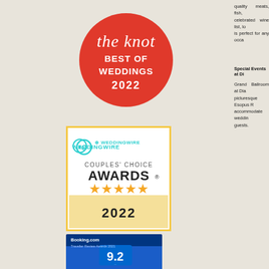[Figure (logo): The Knot Best of Weddings 2022 badge — red circle with white script text]
quality meats, fish, celebrated wine list, lo is perfect for any occa
Special Events at Di
Grand Ballroom at Dia picturesque Esopus R accommodate weddin guests.
[Figure (logo): WeddingWire Couples Choice Awards 2022 badge with five gold stars]
[Figure (logo): Booking.com Traveller Review Awards 2021 badge with score 9.2]